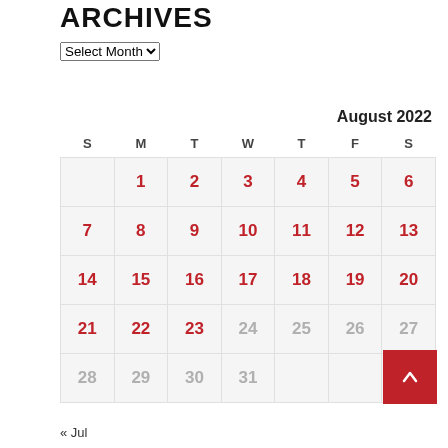ARCHIVES
Select Month
| S | M | T | W | T | F | S |
| --- | --- | --- | --- | --- | --- | --- |
|  | 1 | 2 | 3 | 4 | 5 | 6 |
| 7 | 8 | 9 | 10 | 11 | 12 | 13 |
| 14 | 15 | 16 | 17 | 18 | 19 | 20 |
| 21 | 22 | 23 | 24 | 25 | 26 | 27 |
| 28 | 29 | 30 | 31 |  |  |  |
« Jul